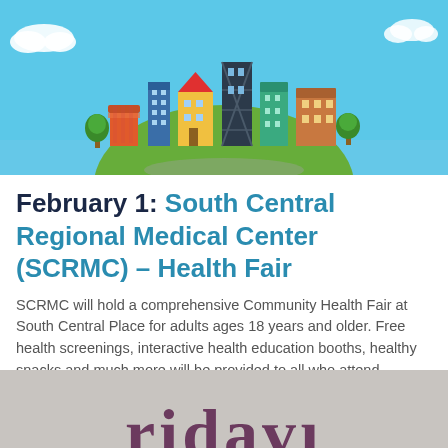[Figure (illustration): Colorful cartoon illustration of a globe with buildings and shops on top, set against a blue sky with white clouds. Green globe/earth at the base with various colored buildings on the horizon.]
February 1: South Central Regional Medical Center (SCRMC) – Health Fair
SCRMC will hold a comprehensive Community Health Fair at South Central Place for adults ages 18 years and older. Free health screenings, interactive health education booths, healthy snacks and much more will be provided to all who attend. Admission is free. Hours are: 10 a.m. to 2 p.m. INFO: 601.399.0501 or email nmccraney@scrmc.com.
[Figure (photo): Partial view of a sign or logo with stylized text beginning with letters that appear to spell 'friday' or similar, in dark maroon/purple text on a light gray background, cropped at the bottom of the page.]